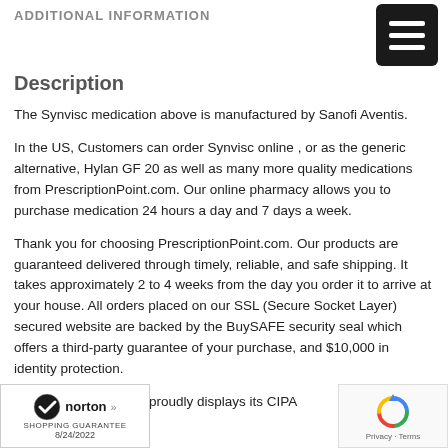ADDITIONAL INFORMATION
Description
The Synvisc medication above is manufactured by Sanofi Aventis.
In the US, Customers can order Synvisc online , or as the generic alternative, Hylan GF 20 as well as many more quality medications from PrescriptionPoint.com. Our online pharmacy allows you to purchase medication 24 hours a day and 7 days a week.
Thank you for choosing PrescriptionPoint.com. Our products are guaranteed delivered through timely, reliable, and safe shipping. It takes approximately 2 to 4 weeks from the day you order it to arrive at your house. All orders placed on our SSL (Secure Socket Layer) secured website are backed by the BuySAFE security seal which offers a third-party guarantee of your purchase, and $10,000 in identity protection.
PrescriptionPoint.com proudly displays its CIPA